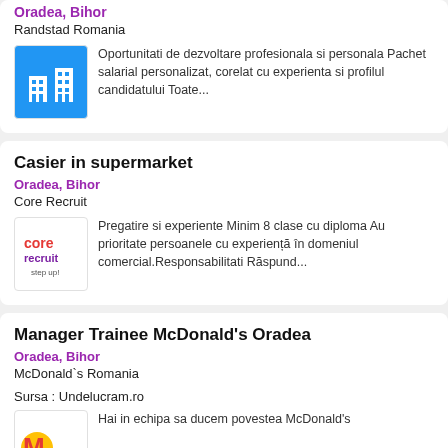Oradea, Bihor
Randstad Romania
Oportunitati de dezvoltare profesionala si personala Pachet salarial personalizat, corelat cu experienta si profilul candidatului Toate...
Casier in supermarket
Oradea, Bihor
Core Recruit
Pregatire si experiente Minim 8 clase cu diploma Au prioritate persoanele cu experiență în domeniul comercial.Responsabilitati Răspund...
Manager Trainee McDonald's Oradea
Oradea, Bihor
McDonald`s Romania
Sursa : Undelucram.ro
Hai in echipa sa ducem povestea McDonald's